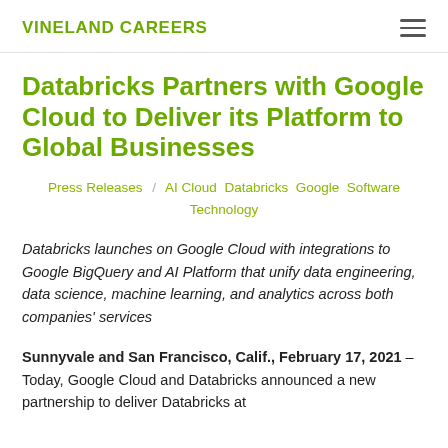VINELAND CAREERS
Databricks Partners with Google Cloud to Deliver its Platform to Global Businesses
Press Releases / AI Cloud Databricks Google Software Technology
Databricks launches on Google Cloud with integrations to Google BigQuery and AI Platform that unify data engineering, data science, machine learning, and analytics across both companies' services
Sunnyvale and San Francisco, Calif., February 17, 2021 – Today, Google Cloud and Databricks announced a new partnership to deliver Databricks at